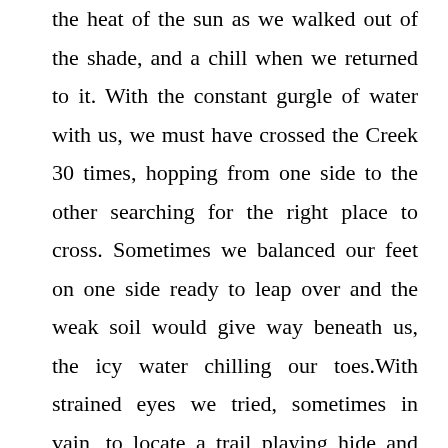the heat of the sun as we walked out of the shade, and a chill when we returned to it. With the constant gurgle of water with us, we must have crossed the Creek 30 times, hopping from one side to the other searching for the right place to cross. Sometimes we balanced our feet on one side ready to leap over and the weak soil would give way beneath us, the icy water chilling our toes.With strained eyes we tried, sometimes in vain, to locate a trail playing hide and seek with us. A Rattlesnake glided casually across the path startling me. Normally they would signal as a warning but this one was silent, without malice or confrontation and my fear subsided. White trees, the remnants of a past forest fire where the bark had burnt away to be left with a stark albino finish